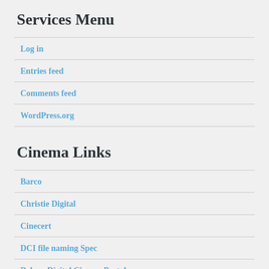Services Menu
Log in
Entries feed
Comments feed
WordPress.org
Cinema Links
Barco
Christie Digital
Cinecert
DCI file naming Spec
Deluxe Digital Cinema Portal
Digital Cinema Initiatives (DCI)
Dolby
Doremi (Dolby)